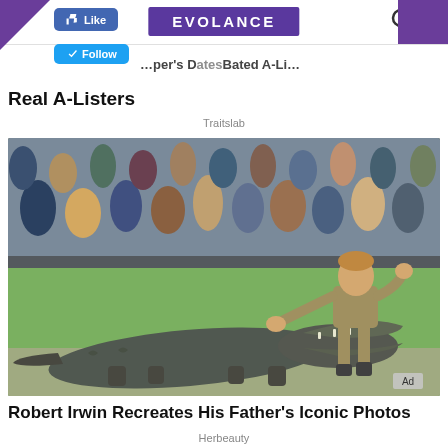EVOLANCE
Real A-Listers
Traitslab
[Figure (photo): Robert Irwin feeding or interacting with a large crocodile/alligator at an outdoor wildlife park, with a crowd of spectators in bleachers behind a fence in the background. Robert is wearing khaki shorts and shirt, leaning forward with arm extended toward the open-mouthed crocodile on the ground.]
Robert Irwin Recreates His Father's Iconic Photos
Herbeauty